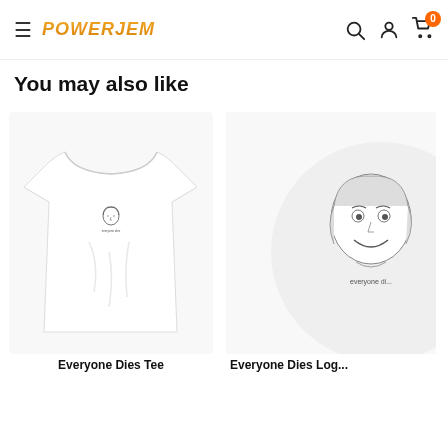PowerJem store navigation with logo, search, account, and cart icons
You may also like
[Figure (photo): White t-shirt with small face illustration and 'everyone dies' text on the chest pocket area]
Everyone Dies Tee
[Figure (photo): Circular sticker/logo with vintage-style smiling girl illustration and 'everyone di...' text (partially cut off), on a light gray circle background]
Everyone Dies Log...